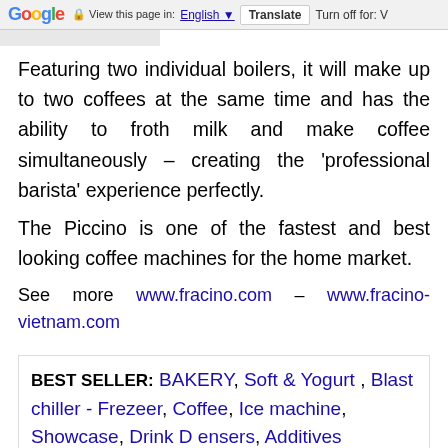Google  View this page in: English [▼]  Translate  Turn off for: V
Featuring two individual boilers, it will make up to two coffees at the same time and has the ability to froth milk and make coffee simultaneously – creating the 'professional barista' experience perfectly.
The Piccino is one of the fastest and best looking coffee machines for the home market.
See more www.fracino.com – www.fracino-vietnam.com
BEST SELLER: BAKERY, Soft & Yogurt , Blast chiller - Frezeer, Coffee, Ice machine, Showcase, Drink Dispensers, Additives Cabinets, Flavors,
[Figure (infographic): Popup with [X] close button, phone icon in circle, and three phone numbers: +84 988 427 333, +84 988 794 111, +84 968 002 013 in red]